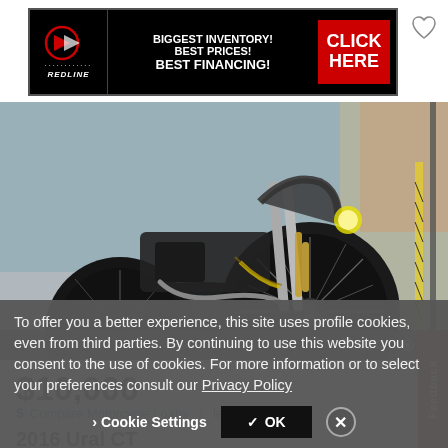[Figure (screenshot): Redline motorcycle dealer advertisement banner with logo, text 'BIGGEST INVENTORY! BEST PRICES! BEST FINANCING!' and red CLICK HERE button]
[Figure (photo): Close-up photo of a motorcycle front wheel and forks, dark colored vintage/classic motorcycle]
OBO  11
$10,000
$ Compare Motorcycle Loans | lendingtree
2016 Ural CT
To offer you a better experience, this site uses profile cookies, even from third parties. By continuing to use this website you consent to the use of cookies. For more information or to select your preferences consult our Privacy Policy
Cookie Settings | ✓ OK | ×